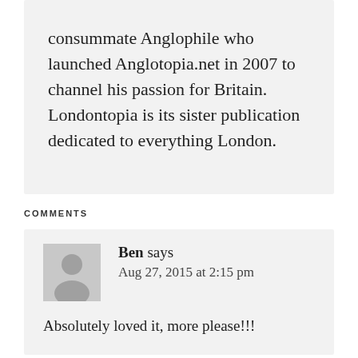consummate Anglophile who launched Anglotopia.net in 2007 to channel his passion for Britain. Londontopia is its sister publication dedicated to everything London.
COMMENTS
Ben says
Aug 27, 2015 at 2:15 pm
Absolutely loved it, more please!!!